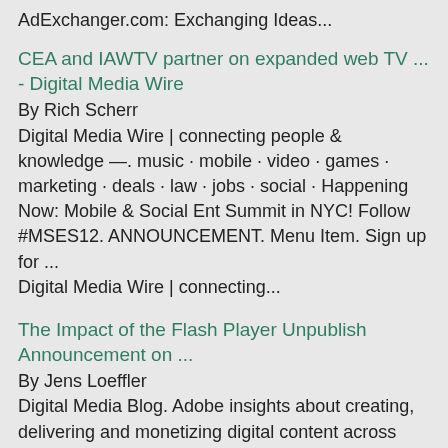AdExchanger.com: Exchanging Ideas...
CEA and IAWTV partner on expanded web TV ... - Digital Media Wire
By Rich Scherr
Digital Media Wire | connecting people & knowledge —. music · mobile · video · games · marketing · deals · law · jobs · social · Happening Now: Mobile & Social Ent Summit in NYC! Follow #MSES12. ANNOUNCEMENT. Menu Item. Sign up for ...
Digital Media Wire | connecting...
The Impact of the Flash Player Unpublish Announcement on ...
By Jens Loeffler
Digital Media Blog. Adobe insights about creating, delivering and monetizing digital content across platforms and devices .... By the end of 2014, 200MM U.S. Internet users (76%) will regularly watch video online (source: eMarketer). Further ... With this announcement, we also unveiled Adobe Media Server 5 and Adobe Access 4 to give media companies a single video publishing and DRM workflow that reaches 98